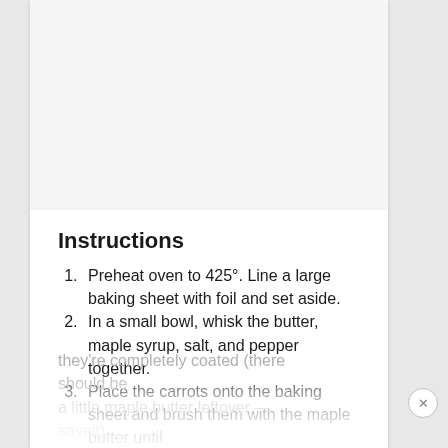Instructions
Preheat oven to 425°. Line a large baking sheet with foil and set aside.
In a small bowl, whisk the butter, maple syrup, salt, and pepper together.
Place the carrots onto the baking sheet and brush them with the maple butter until they're completely coated (there should be a little maple butter leftover — saveit).